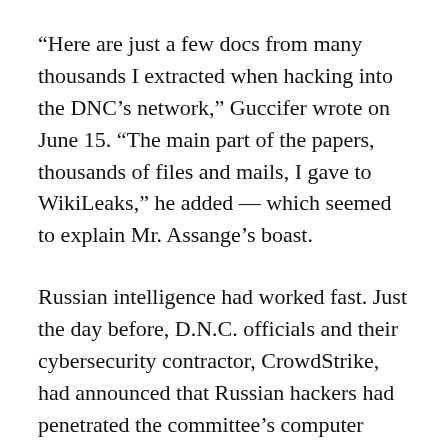“Here are just a few docs from many thousands I extracted when hacking into the DNC’s network,” Guccifer wrote on June 15. “The main part of the papers, thousands of files and mails, I gave to WikiLeaks,” he added — which seemed to explain Mr. Assange’s boast.
Russian intelligence had worked fast. Just the day before, D.N.C. officials and their cybersecurity contractor, CrowdStrike, had announced that Russian hackers had penetrated the committee’s computer network.
Overnight, Russian military intelligence officers set up the website and created the Guccifer…